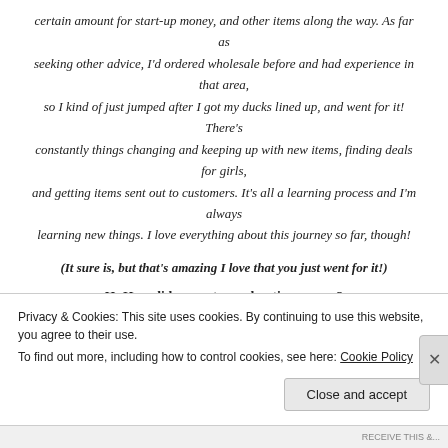certain amount for start-up money, and other items along the way. As far as seeking other advice, I'd ordered wholesale before and had experience in that area, so I kind of just jumped after I got my ducks lined up, and went for it! There's constantly things changing and keeping up with new items, finding deals for girls, and getting items sent out to customers. It's all a learning process and I'm always learning new things. I love everything about this journey so far, though!
(It sure is, but that's amazing I love that you just went for it!)
H: How did you get your boutique name?
L: I wanted something original and that had some meaning behind it for me, so I
Privacy & Cookies: This site uses cookies. By continuing to use this website, you agree to their use.
To find out more, including how to control cookies, see here: Cookie Policy
Close and accept